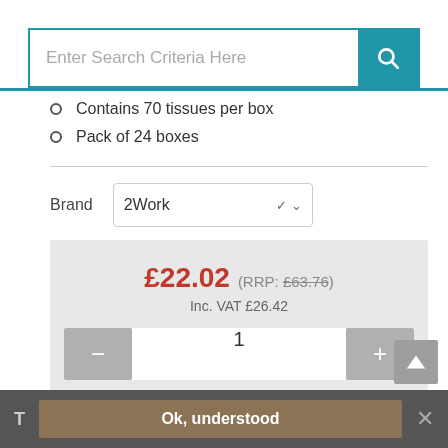[Figure (screenshot): Search bar with text input 'Enter Search Criteria Here' and blue search button with magnifying glass icon]
Contains 70 tissues per box
Pack of 24 boxes
Brand: 2Work
£22.02 (RRP: £63.76) Inc. VAT £26.42
1
Add to Basket
Ok, understood